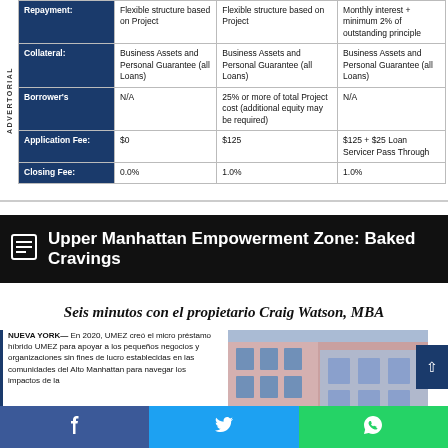|  | Column 1 | Column 2 | Column 3 |
| --- | --- | --- | --- |
| Repayment: | Flexible structure based on Project | Flexible structure based on Project | Monthly interest + minimum 2% of outstanding principle |
| Collateral: | Business Assets and Personal Guarantee (all Loans) | Business Assets and Personal Guarantee (all Loans) | Business Assets and Personal Guarantee (all Loans) |
| Borrower's | N/A | 25% or more of total Project cost (additional equity may be required) | N/A |
| Application Fee: | $0 | $125 | $125 + $25 Loan Servicer Pass Through |
| Closing Fee: | 0.0% | 1.0% | 1.0% |
Upper Manhattan Empowerment Zone: Baked Cravings
Seis minutos con el propietario Craig Watson, MBA
NUEVA YORK— En 2020, UMEZ creó el micro préstamo híbrido UMEZ para apoyar a los pequeños negocios y organizaciones sin fines de lucro establecidas en las comunidades del Alto Manhattan para navegar los impactos de la
[Figure (photo): Exterior photo of a building with pink and brown facade and large windows]